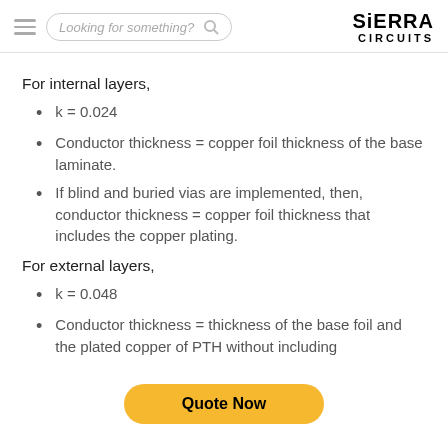Sierra Circuits — Looking for something? [search bar] [logo]
For internal layers,
k = 0.024
Conductor thickness = copper foil thickness of the base laminate.
If blind and buried vias are implemented, then, conductor thickness = copper foil thickness that includes the copper plating.
For external layers,
k = 0.048
Conductor thickness = thickness of the base foil and the plated copper of PTH without including